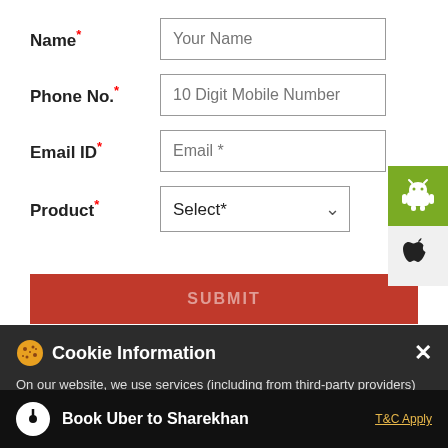Name*
Your Name
Phone No.*
10 Digit Mobile Number
Email ID*
Email *
Product*
Select*
SUBMIT
[Figure (screenshot): Android and Apple app store icons on the right sidebar]
Cookie Information
On our website, we use services (including from third-party providers) that help us to improve our online presence (optimization of website) and to display content that is geared to their interests. We need your consent before being able to use these services.
Book Uber to Sharekhan
T&C Apply